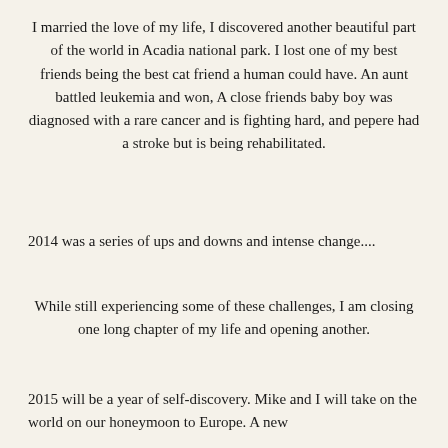I married the love of my life, I discovered another beautiful part of the world in Acadia national park. I lost one of my best friends being the best cat friend a human could have. An aunt battled leukemia and won, A close friends baby boy was diagnosed with a rare cancer and is fighting hard, and pepere had a stroke but is being rehabilitated.
2014 was a series of ups and downs and intense change....
While still experiencing some of these challenges, I am closing one long chapter of my life and opening another.
2015 will be a year of self-discovery. Mike and I will take on the world on our honeymoon to Europe. A new